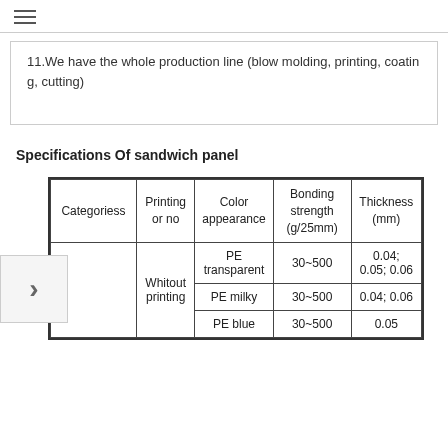≡
11.We have the whole production line (blow molding, printing, coating, cutting)
Specifications Of sandwich panel
| Categoriess | Printing or no | Color appearance | Bonding strength (g/25mm) | Thickness (mm) |
| --- | --- | --- | --- | --- |
|  |  | PE transparent | 30~500 | 0.04; 0.05; 0.06 |
|  | Whitout printing | PE milky | 30~500 | 0.04; 0.06 |
|  |  | PE blue | 30~500 | 0.05 |